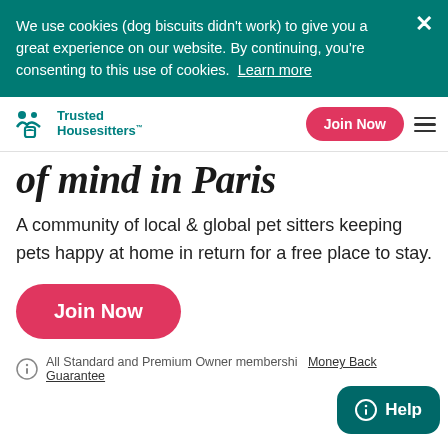We use cookies (dog biscuits didn't work) to give you a great experience on our website. By continuing, you're consenting to this use of cookies. Learn more
Trusted Housesitters
of mind in Paris
A community of local & global pet sitters keeping pets happy at home in return for a free place to stay.
Join Now
All Standard and Premium Owner membership... our Money Back Guarantee